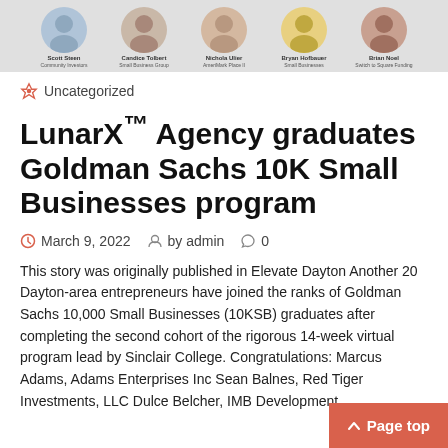[Figure (photo): Row of five circular avatar photos with names and titles below: Scott Steen (Community Investors), Candice Tolbert (Small Business Group), Nichola Ulier (AmeriMark Place II), Bryan Hofbauer (Small Businesses), Brian Noel (Switch to Square Funding)]
Uncategorized
LunarX™ Agency graduates Goldman Sachs 10K Small Businesses program
March 9, 2022   by admin   0
This story was originally published in Elevate Dayton Another 20 Dayton-area entrepreneurs have joined the ranks of Goldman Sachs 10,000 Small Businesses (10KSB) graduates after completing the second cohort of the rigorous 14-week virtual program lead by Sinclair College. Congratulations: Marcus Adams, Adams Enterprises Inc Sean Balnes, Red Tiger Investments, LLC Dulce Belcher, IMB Development...